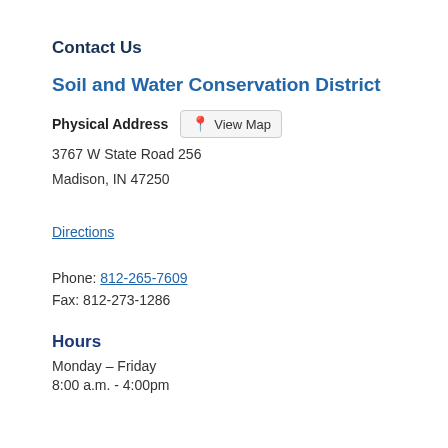Contact Us
Soil and Water Conservation District
Physical Address   View Map
3767 W State Road 256
Madison, IN 47250
Directions
Phone: 812-265-7609
Fax: 812-273-1286
Hours
Monday – Friday
8:00 a.m. - 4:00pm